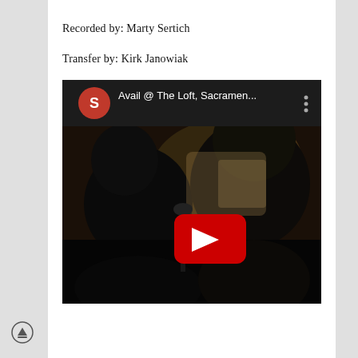Recorded by: Marty Sertich
Transfer by: Kirk Janowiak
[Figure (screenshot): YouTube video embed screenshot showing 'Avail @ The Loft, Sacramen...' with a red S channel icon, three-dot menu, and a YouTube play button overlay on a dark concert scene with silhouetted figures.]